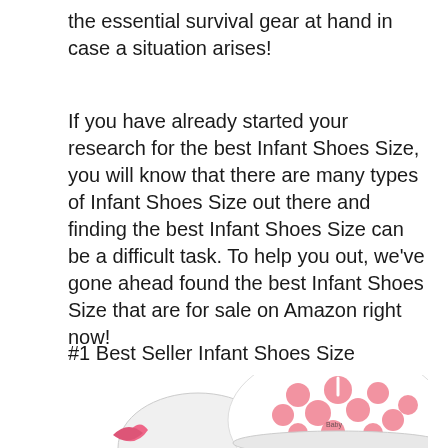the essential survival gear at hand in case a situation arises!
If you have already started your research for the best Infant Shoes Size, you will know that there are many types of Infant Shoes Size out there and finding the best Infant Shoes Size can be a difficult task. To help you out, we've gone ahead found the best Infant Shoes Size that are for sale on Amazon right now!
#1 Best Seller Infant Shoes Size
[Figure (photo): Pink and white polka-dot infant shoes, baby sneakers with pink accents and white laces, partially visible from the bottom of the page.]